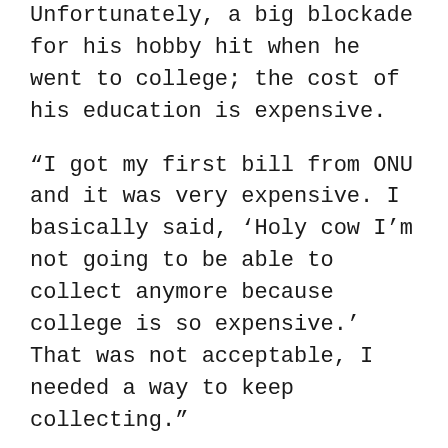Unfortunately, a big blockade for his hobby hit when he went to college; the cost of his education is expensive.
“I got my first bill from ONU and it was very expensive. I basically said, ‘Holy cow I’m not going to be able to collect anymore because college is so expensive.’ That was not acceptable, I needed a way to keep collecting.”
Toy shows was always a homely place for the young collector, but he became a vendor to help with his college bills and to maintain his own collection. Selling off his doubles and